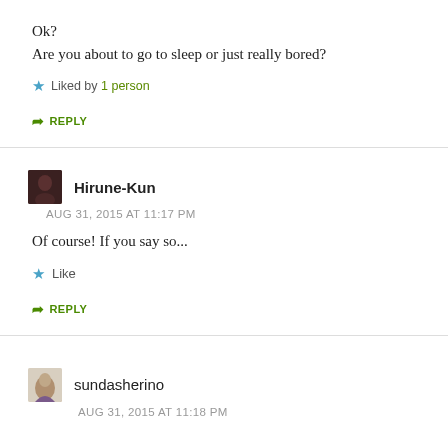Ok?
Are you about to go to sleep or just really bored?
Liked by 1 person
REPLY
Hirune-Kun
AUG 31, 2015 AT 11:17 PM
Of course! If you say so...
Like
REPLY
sundasherino
AUG 31, 2015 AT 11:18 PM